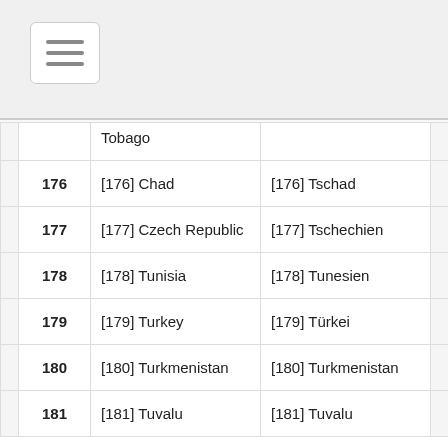[Figure (screenshot): Navigation hamburger menu button in top-left corner of the page]
|  | EN | DE |
| --- | --- | --- |
|  | Tobago |  |
| 176 | [176] Chad | [176] Tschad |
| 177 | [177] Czech Republic | [177] Tschechien |
| 178 | [178] Tunisia | [178] Tunesien |
| 179 | [179] Turkey | [179] Türkei |
| 180 | [180] Turkmenistan | [180] Turkmenistan |
| 181 | [181] Tuvalu | [181] Tuvalu |